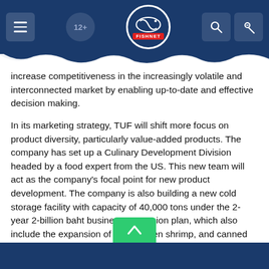FISHNET — navigation bar with logo, hamburger menu, rating icon, search and key icons
increase competitiveness in the increasingly volatile and interconnected market by enabling up-to-date and effective decision making.
In its marketing strategy, TUF will shift more focus on product diversity, particularly value-added products. The company has set up a Culinary Development Division headed by a food expert from the US. This new team will act as the company's focal point for new product development. The company is also building a new cold storage facility with capacity of 40,000 tons under the 2-year 2-billion baht business expansion plan, which also include the expansion of tuna, frozen shrimp, and canned sardine production lines. In addition, the reorganization of management structure at two US subsidiaries, which started in mid-2009 and is expected to finish in 2010, will help strengthen the implementation of the company's